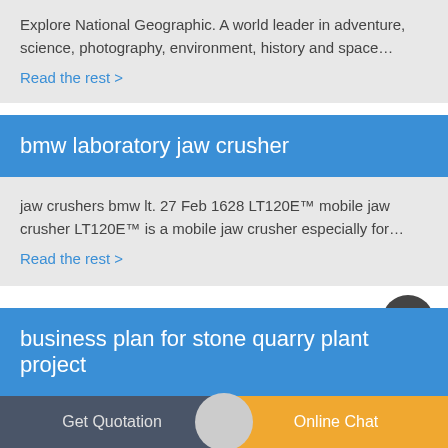Explore National Geographic. A world leader in adventure, science, photography, environment, history and space…
Read the rest >
bmw laboratory jaw crusher
jaw crushers bmw lt. 27 Feb 1628 LT120E™ mobile jaw crusher LT120E™ is a mobile jaw crusher especially for…
Read the rest >
business plan for stone quarry plant project